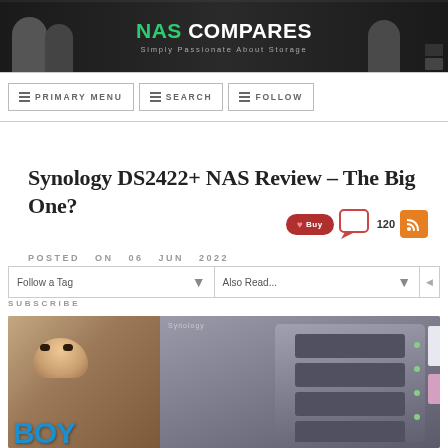[Figure (photo): NAS Compares website header banner with logo, tagline 'Simply Passionate About Storage', and people posing with NAS devices]
PRIMARY MENU  SEARCH  FOLLOW
Synology DS2422+ NAS Review – The Big One?
POSTED ON 06 JUN 2022
Follow a Tag  Also Read...  SUBSCRIBE
[Figure (photo): Photo of a person with a beard looking into camera next to a Synology DS2422+ NAS device with multiple drive bays visible]